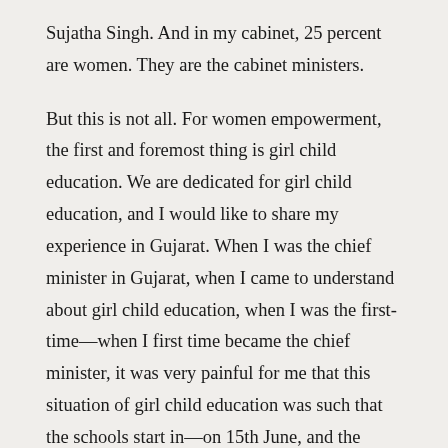Sujatha Singh. And in my cabinet, 25 percent are women. They are the cabinet ministers.
But this is not all. For women empowerment, the first and foremost thing is girl child education. We are dedicated for girl child education, and I would like to share my experience in Gujarat. When I was the chief minister in Gujarat, when I came to understand about girl child education, when I was the first-time—when I first time became the chief minister, it was very painful for me that this situation of girl child education was such that the schools start in—on 15th June, and the temperature there at that time is 45 degree. Here at 24 degree, you feel hot, and we were living in 45 degree.